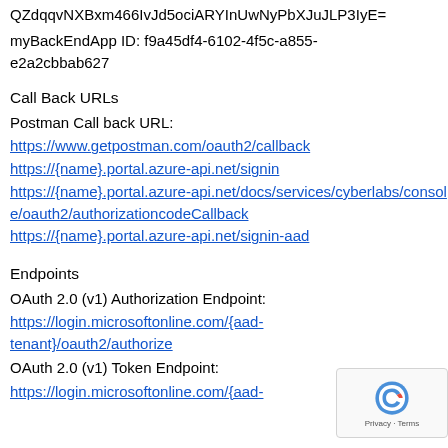myFrontEndApp Secret Key: QZdqqvNXBxm466IvJd5ociARYInUwNyPbXJuJLP3IyE=
myBackEndApp ID: f9a45df4-6102-4f5c-a855-e2a2cbbab627
Call Back URLs
Postman Call back URL:
https://www.getpostman.com/oauth2/callback
https://{name}.portal.azure-api.net/signin
https://{name}.portal.azure-api.net/docs/services/cyberlabs/console/oauth2/authorizationcodeCallback
https://{name}.portal.azure-api.net/signin-aad
Endpoints
OAuth 2.0 (v1) Authorization Endpoint:
https://login.microsoftonline.com/{aad-tenant}/oauth2/authorize
OAuth 2.0 (v1) Token Endpoint:
https://login.microsoftonline.com/{aad-